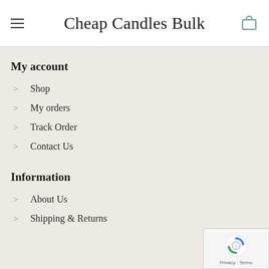Cheap Candles Bulk
My account
Shop
My orders
Track Order
Contact Us
Information
About Us
Shipping & Returns